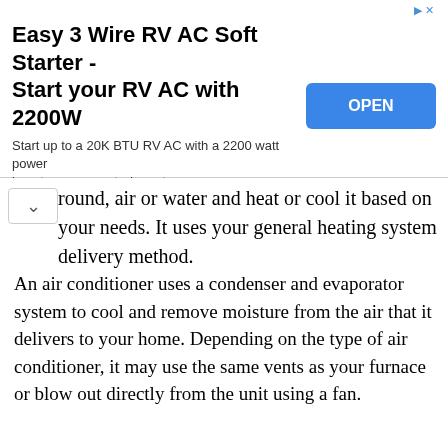[Figure (other): Advertisement banner for 'Easy 3 Wire RV AC Soft Starter - Start your RV AC with 2200W'. Includes an OPEN button in blue. Subtitle: Start up to a 20K BTU RV AC with a 2200 watt power inverter or generator! spartanpower.com]
round, air or water and heat or cool it based on your needs. It uses your general heating system delivery method.
Fun Fact: You can save up to 40 percent on energy costs by using a variable speed heat pump.
An air conditioner uses a condenser and evaporator system to cool and remove moisture from the air that it delivers to your home. Depending on the type of air conditioner, it may use the same vents as your furnace or blow out directly from the unit using a fan.